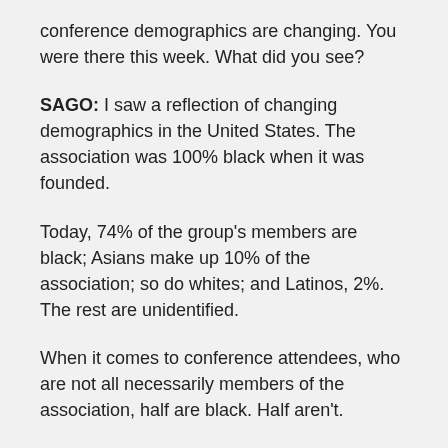conference demographics are changing. You were there this week. What did you see?
SAGO: I saw a reflection of changing demographics in the United States. The association was 100% black when it was founded.
Today, 74% of the group's members are black; Asians make up 10% of the association; so do whites; and Latinos, 2%. The rest are unidentified.
When it comes to conference attendees, who are not all necessarily members of the association, half are black. Half aren't.
CHAVEZ: Renata, why is that?
SAGO: Other groups see benefits in what the association offers. The business world and job market have changed.